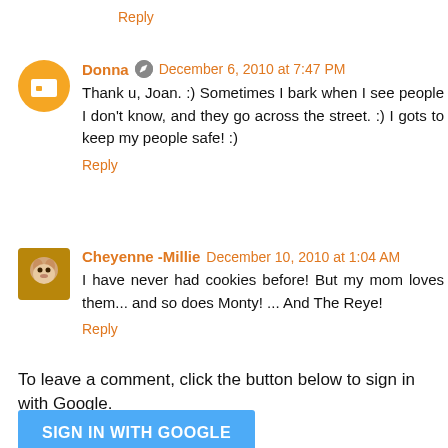Reply
Donna  December 6, 2010 at 7:47 PM
Thank u, Joan. :) Sometimes I bark when I see people I don't know, and they go across the street. :) I gots to keep my people safe! :)
Reply
Cheyenne -Millie  December 10, 2010 at 1:04 AM
I have never had cookies before! But my mom loves them... and so does Monty! ... And The Reye!
Reply
To leave a comment, click the button below to sign in with Google.
SIGN IN WITH GOOGLE